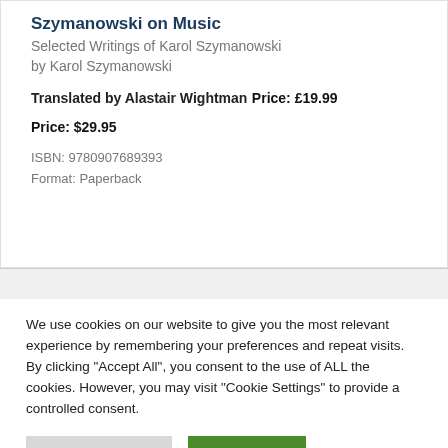Szymanowski on Music
Selected Writings of Karol Szymanowski
by Karol Szymanowski
Translated by Alastair Wightman
Price: £19.99
Price: $29.95
ISBN: 9780907689393
Format: Paperback
We use cookies on our website to give you the most relevant experience by remembering your preferences and repeat visits. By clicking "Accept All", you consent to the use of ALL the cookies. However, you may visit "Cookie Settings" to provide a controlled consent.